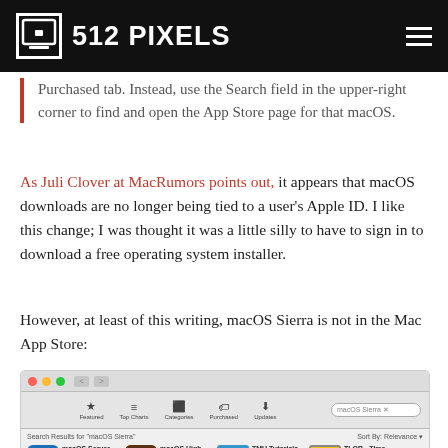512 PIXELS
Purchased tab. Instead, use the Search field in the upper-right corner to find and open the App Store page for that macOS.
As Juli Clover at MacRumors points out, it appears that macOS downloads are no longer being tied to a user's Apple ID. I like this change; I was thought it was a little silly to have to sign in to download a free operating system installer.
However, at least of this writing, macOS Sierra is not in the Mac App Store:
[Figure (screenshot): Mac App Store screenshot showing search results for 'macOS Sierra' with apps: macOS Server, macOS High Sierra, TMU Tutorials, TLOB - Time Left On Ba. Navigation toolbar visible with Featured, Top Charts, Categories, Purchased, Updates tabs and search field showing 'macOS Sierra'.]